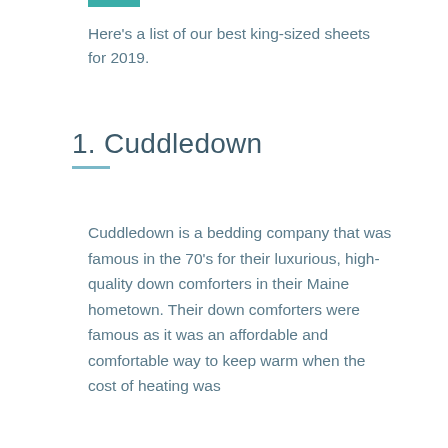Here's a list of our best king-sized sheets for 2019.
1. Cuddledown
Cuddledown is a bedding company that was famous in the 70's for their luxurious, high-quality down comforters in their Maine hometown. Their down comforters were famous as it was an affordable and comfortable way to keep warm when the cost of heating was